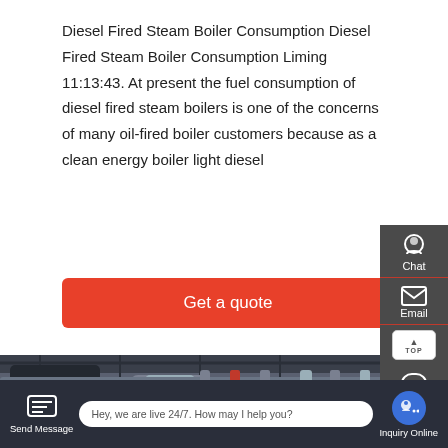Diesel Fired Steam Boiler Consumption Diesel Fired Steam Boiler Consumption Liming 11:13:43. At present the fuel consumption of diesel fired steam boilers is one of the concerns of many oil-fired boiler customers because as a clean energy boiler light diesel
Get a quote
[Figure (photo): Industrial boiler room interior showing large cylindrical steam boilers, insulated pipes, metal ductwork, and overhead structural beams in a factory setting.]
[Figure (screenshot): Website UI overlay with side panel showing Chat, Email, Contact icons and a bottom bar with Send Message, live chat bubble ('Hey, we are live 24/7. How may I help you?') and Inquiry Online button.]